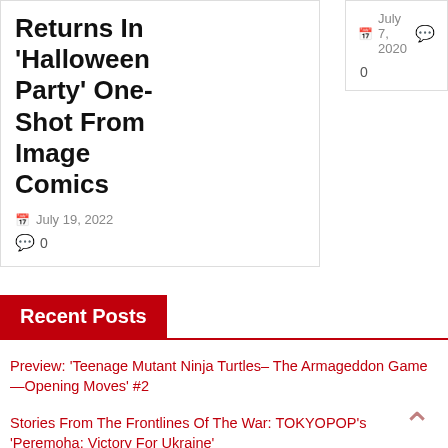Returns In ‘Halloween Party’ One-Shot From Image Comics
July 19, 2022
0
July 7, 2020
0
Recent Posts
Preview: ‘Teenage Mutant Ninja Turtles– The Armageddon Game—Opening Moves’ #2
Stories From The Frontlines Of The War: TOKYOPOP’s ‘Peremoha: Victory For Ukraine’
Enter Now…The Sins Of Sinister: A New Crossover Comes To X-Men In January
Comics From A Galaxy Far, Far Away… Previewing Marvel’s